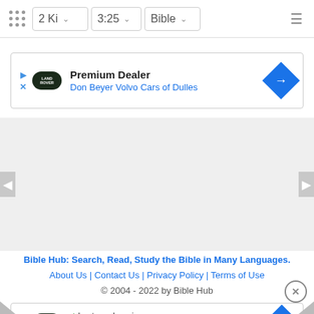2 Ki  3:25  Bible
[Figure (screenshot): Advertisement for Don Beyer Volvo Cars of Dulles showing Land Rover logo, Premium Dealer text, and blue direction arrow icon]
[Figure (screenshot): Gray content area with left and right navigation arrows]
Bible Hub: Search, Read, Study the Bible in Many Languages. | About Us | Contact Us | Privacy Policy | Terms of Use | © 2004 - 2022 by Bible Hub
[Figure (screenshot): Advertisement showing Land Rover logo with In-store shopping, In-store pickup, Delivery options and blue direction arrow icon]